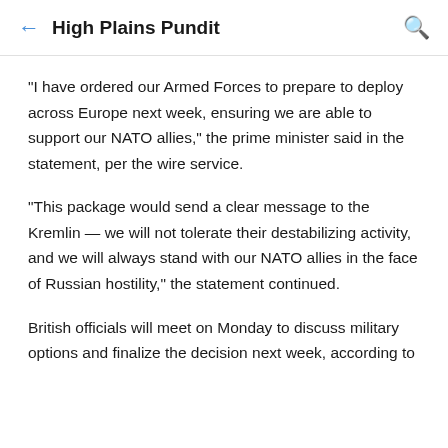High Plains Pundit
"I have ordered our Armed Forces to prepare to deploy across Europe next week, ensuring we are able to support our NATO allies," the prime minister said in the statement, per the wire service.
"This package would send a clear message to the Kremlin — we will not tolerate their destabilizing activity, and we will always stand with our NATO allies in the face of Russian hostility," the statement continued.
British officials will meet on Monday to discuss military options and finalize the decision next week, according to